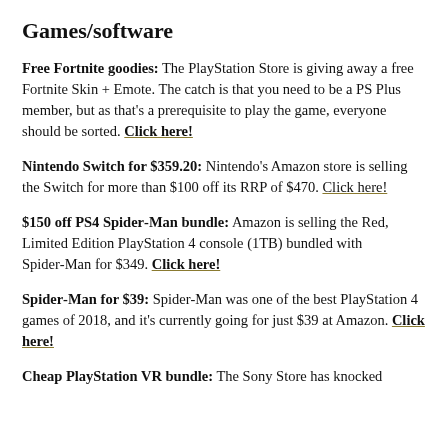Games/software
Free Fortnite goodies: The PlayStation Store is giving away a free Fortnite Skin + Emote. The catch is that you need to be a PS Plus member, but as that's a prerequisite to play the game, everyone should be sorted. Click here!
Nintendo Switch for $359.20: Nintendo's Amazon store is selling the Switch for more than $100 off its RRP of $470. Click here!
$150 off PS4 Spider-Man bundle: Amazon is selling the Red, Limited Edition PlayStation 4 console (1TB) bundled with Spider-Man for $349. Click here!
Spider-Man for $39: Spider-Man was one of the best PlayStation 4 games of 2018, and it's currently going for just $39 at Amazon. Click here!
Cheap PlayStation VR bundle: The Sony Store has knocked